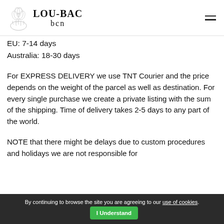LOU-BAC bcn
EU: 7-14 days
Australia: 18-30 days
For EXPRESS DELIVERY we use TNT Courier and the price depends on the weight of the parcel as well as destination. For every single purchase we create a private listing with the sum of the shipping. Time of delivery takes 2-5 days to any part of the world.
NOTE that there might be delays due to custom procedures and holidays we are not responsible for
By continuing to browse the site you are agreeing to our use of cookies. I Understand